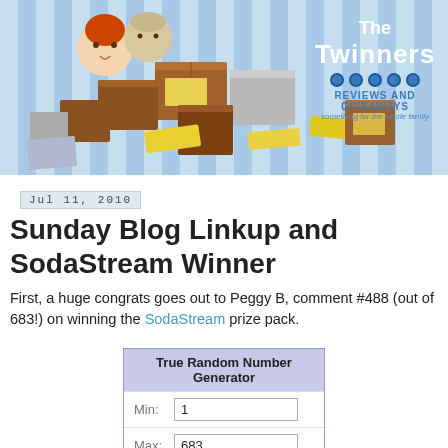[Figure (illustration): The Twinners Reviews and Giveaways blog banner with illustrated cartoon children, stacked cardboard and gray boxes with yellow labels, on a blue striped background. Text reads 'The Twinners Reviews And Giveaways something for the whole family'.]
Jul 11, 2010
Sunday Blog Linkup and SodaStream Winner
First, a huge congrats goes out to Peggy B, comment #488 (out of 683!) on winning the SodaStream prize pack.
[Figure (screenshot): True Random Number Generator widget showing Min: 1, Max: 683, with a Generate button at the bottom.]